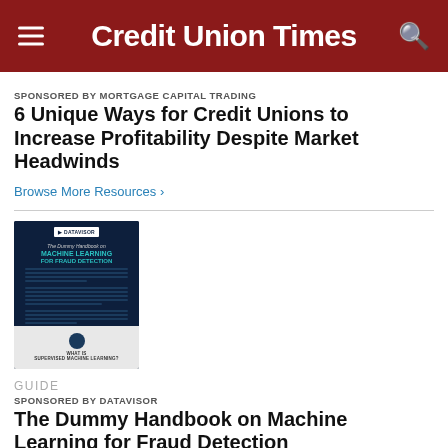Credit Union Times
SPONSORED BY MORTGAGE CAPITAL TRADING
6 Unique Ways for Credit Unions to Increase Profitability Despite Market Headwinds
Browse More Resources ›
[Figure (illustration): Book cover: The Dummy Handbook on Machine Learning for Fraud Detection by DataVisor, with dark blue cover and teal text. Bottom section shows a page with a gear icon and 'What is Supervised Machine Learning?' heading.]
GUIDE
SPONSORED BY DATAVISOR
The Dummy Handbook on Machine Learning for Fraud Detection
Browse More Resources ›